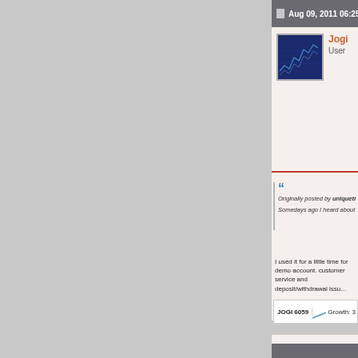Aug 09, 2011 06:25 pm
Jogi
User
Originally posted by uniquetrade...
Somedays ago I heard about laur...
I used it for a little time for demo account. customer service and deposit/withdrawal issu...
| JOGI 6059 |  | Growth: 3 |
| --- | --- | --- |